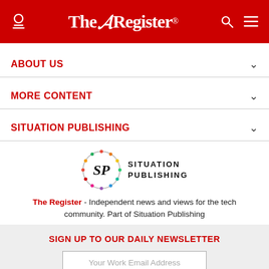The Register
ABOUT US
MORE CONTENT
SITUATION PUBLISHING
[Figure (logo): Situation Publishing logo: circular SP emblem with colorful border next to 'SITUATION PUBLISHING' text]
The Register - Independent news and views for the tech community. Part of Situation Publishing
SIGN UP TO OUR DAILY NEWSLETTER
Your Work Email Address
SUBSCRIBE